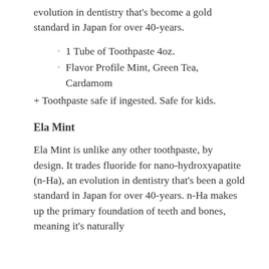evolution in dentistry that's become a gold standard in Japan for over 40-years.
1 Tube of Toothpaste 4oz.
Flavor Profile Mint, Green Tea, Cardamom
+ Toothpaste safe if ingested. Safe for kids.
Ela Mint
Ela Mint is unlike any other toothpaste, by design. It trades fluoride for nano-hydroxyapatite (n-Ha), an evolution in dentistry that's been a gold standard in Japan for over 40-years. n-Ha makes up the primary foundation of teeth and bones, meaning it's naturally